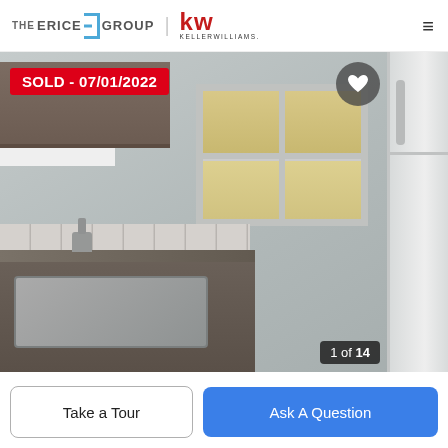THE ERICE GROUP | KELLER WILLIAMS
[Figure (photo): Interior kitchen photo showing upper dark wood cabinets, a window with outside view, a stainless steel sink on granite countertop, and a white refrigerator on the right. A red SOLD badge reads 'SOLD - 07/01/2022'. A heart/favorite button is in the upper right corner. Image counter shows '1 of 14'.]
SOLD - 07/01/2022
1 of 14
Take a Tour
Ask A Question